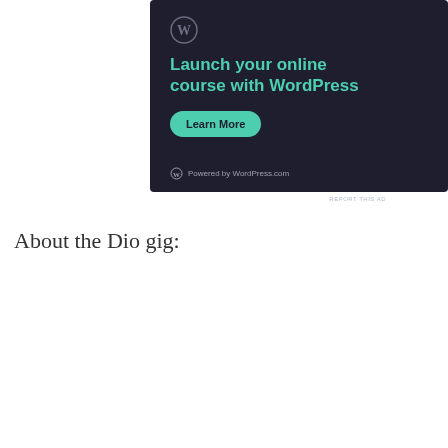[Figure (other): WordPress.com advertisement banner with dark navy background. Shows WordPress logo (circle W), headline 'Launch your online course with WordPress' in teal/green text, a teal 'Learn More' button, and 'Powered by WordPress.com' footer text with WordPress logo icon.]
REPORT THIS AD
About the Dio gig: